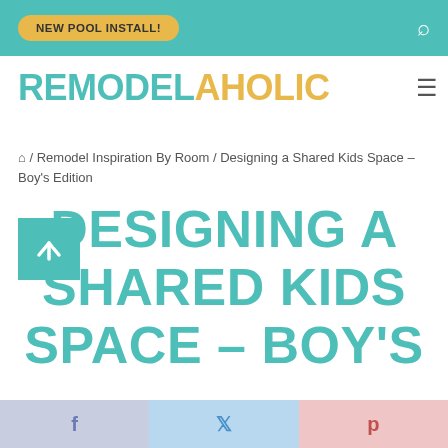NEW POOL INSTALL!
REMODELAHOLIC
/ Remodel Inspiration By Room / Designing a Shared Kids Space – Boy's Edition
DESIGNING A SHARED KIDS SPACE – BOY'S
f  t  p